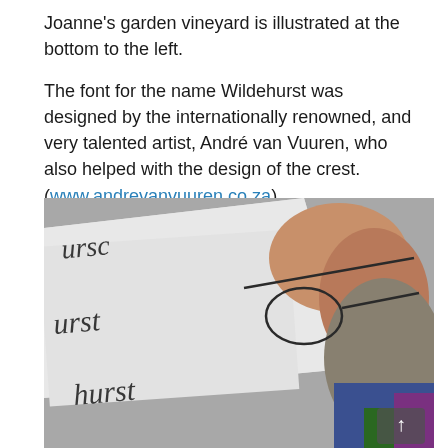Joanne's garden vineyard is illustrated at the bottom to the left.
The font for the name Wildehurst was designed by the internationally renowned, and very talented artist, André van Vuuren, who also helped with the design of the crest. (www.andrevanvuuren.co.za)
[Figure (photo): Close-up photograph of a man with glasses and a beard looking at a white paper or card with handwritten cursive text showing partial letters 'urse', 'urst', and 'hurst' in black ink, with a colorful shirt visible at the bottom right. A white up-arrow button is visible in the bottom right corner.]